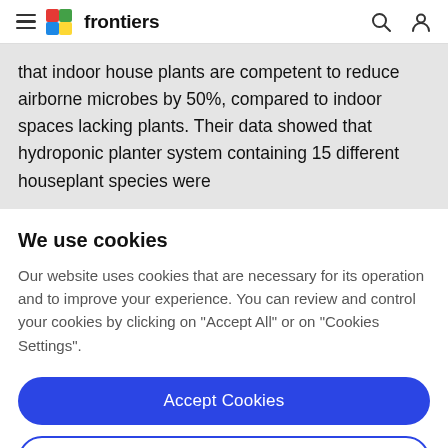frontiers
that indoor house plants are competent to reduce airborne microbes by 50%, compared to indoor spaces lacking plants. Their data showed that hydroponic planter system containing 15 different houseplant species were
We use cookies
Our website uses cookies that are necessary for its operation and to improve your experience. You can review and control your cookies by clicking on "Accept All" or on "Cookies Settings".
Accept Cookies
Cookies Settings